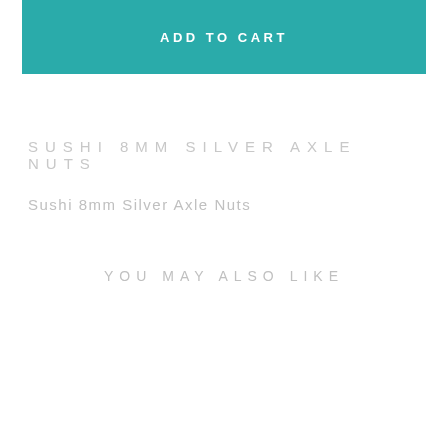ADD TO CART
SUSHI 8MM SILVER AXLE NUTS
Sushi 8mm Silver Axle Nuts
YOU MAY ALSO LIKE